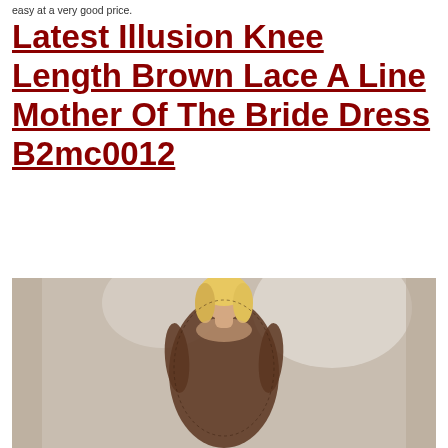easy at a very good price.
Latest Illusion Knee Length Brown Lace A Line Mother Of The Bride Dress B2mc0012
[Figure (photo): A blonde woman wearing a brown lace knee-length mother of the bride dress (B2mc0012), photographed in a studio setting with soft lighting and curtains in the background.]